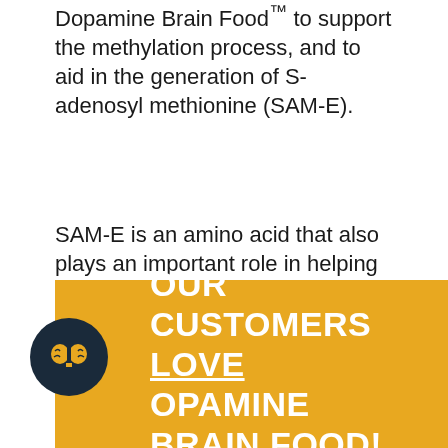Dopamine Brain Food™ to support the methylation process, and to aid in the generation of S-adenosyl methionine (SAM-E).
SAM-E is an amino acid that also plays an important role in helping boost your attention and focus.
OUR CUSTOMERS LOVE DOPAMINE BRAIN FOOD!